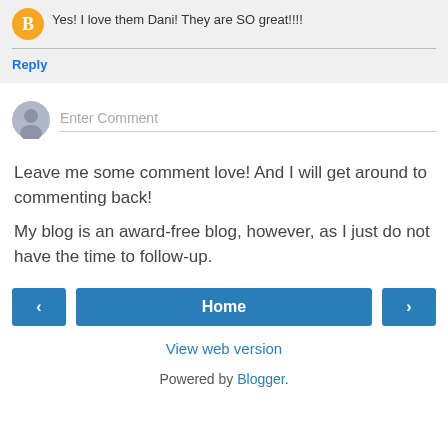Yes! I love them Dani! They are SO great!!!!
Reply
[Figure (other): User avatar placeholder for comment input]
Enter Comment
Leave me some comment love! And I will get around to commenting back!
My blog is an award-free blog, however, as I just do not have the time to follow-up.
Home
View web version
Powered by Blogger.